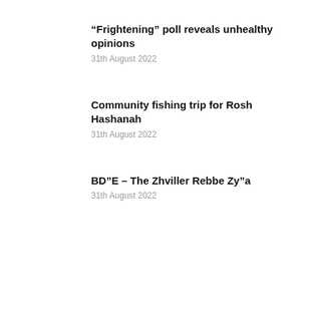“Frightening” poll reveals unhealthy opinions
31th August 2022
Community fishing trip for Rosh Hashanah
31th August 2022
BD”E – The Zhviller Rebbe Zy”a
31th August 2022